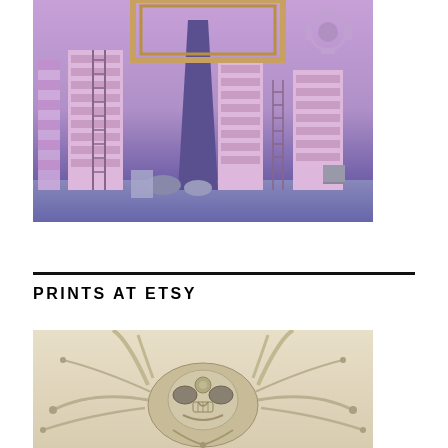[Figure (illustration): Surreal digital illustration of a city-like environment with tall bookshelf-like buildings, ladders, floating geometric frames, and various objects in purplish-pink tones]
PRINTS AT ETSY
[Figure (illustration): Detailed illustration of an ornate demon or creature mask/face with horns and intricate mechanical details on a beige/cream background]